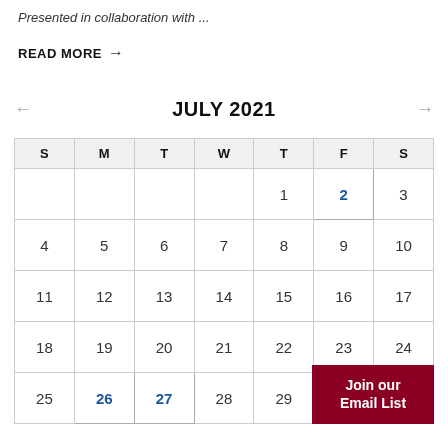Presented in collaboration with ...
READ MORE →
← JULY 2021 →
| S | M | T | W | T | F | S |
| --- | --- | --- | --- | --- | --- | --- |
|  |  |  |  | 1 | 2 | 3 |
| 4 | 5 | 6 | 7 | 8 | 9 | 10 |
| 11 | 12 | 13 | 14 | 15 | 16 | 17 |
| 18 | 19 | 20 | 21 | 22 | 23 | 24 |
| 25 | 26 | 27 | 28 | 29 | 30 | 31 |